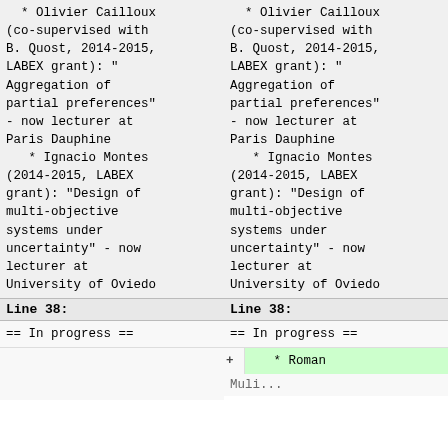* Olivier Cailloux (co-supervised with B. Quost, 2014-2015, LABEX grant): "Aggregation of partial preferences" - now lecturer at Paris Dauphine
  * Ignacio Montes (2014-2015, LABEX grant): "Design of multi-objective systems under uncertainty" - now lecturer at University of Oviedo
* Olivier Cailloux (co-supervised with B. Quost, 2014-2015, LABEX grant): "Aggregation of partial preferences" - now lecturer at Paris Dauphine
  * Ignacio Montes (2014-2015, LABEX grant): "Design of multi-objective systems under uncertainty" - now lecturer at University of Oviedo
Line 38:
Line 38:
== In progress ==
== In progress ==
+    * Roman